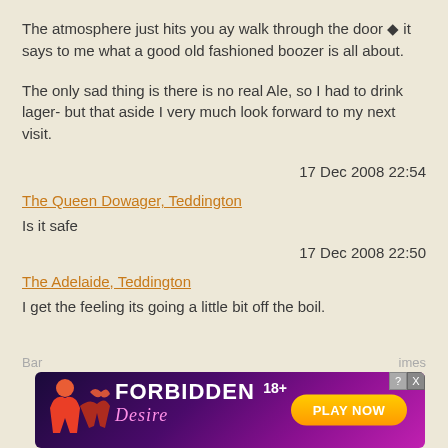The atmosphere just hits you ay walk through the door ◆ it says to me what a good old fashioned boozer is all about.
The only sad thing is there is no real Ale, so I had to drink lager- but that aside I very much look forward to my next visit.
17 Dec 2008 22:54
The Queen Dowager, Teddington
Is it safe
17 Dec 2008 22:50
The Adelaide, Teddington
I get the feeling its going a little bit off the boil.
[Figure (screenshot): Advertisement banner for 'Forbidden Desire' 18+ game with Play Now button]
Bar ... imes emi ... ving -